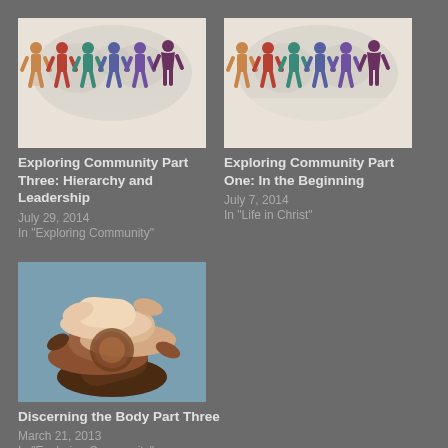[Figure (illustration): Colorful paper cutout people holding hands in a chain, with a world map background, on a beige/cream background]
Exploring Community Part Three: Hierarchy and Leadership
July 29, 2014
In "Exploring Community"
[Figure (illustration): Colorful paper cutout people holding hands in a chain, with a world map background, on a beige/cream background]
Exploring Community Part One: In the Beginning
July 7, 2014
In "Life in Christ"
[Figure (photo): Multiple hands of different skin tones joined together in a circle/stack, symbolizing unity and community]
Discerning the Body Part Three
March 21, 2013
In "Exploring Community"